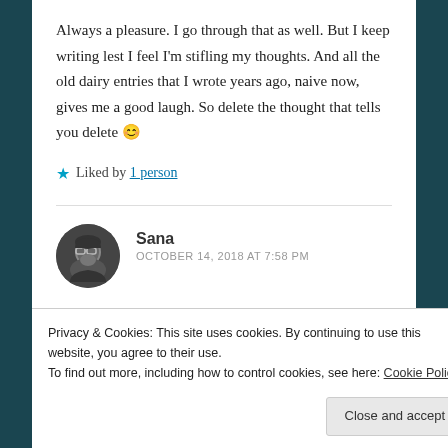Always a pleasure. I go through that as well. But I keep writing lest I feel I'm stifling my thoughts. And all the old dairy entries that I wrote years ago, naive now, gives me a good laugh. So delete the thought that tells you delete 😊
★ Liked by 1 person
Sana
OCTOBER 14, 2018 AT 7:58 PM
Privacy & Cookies: This site uses cookies. By continuing to use this website, you agree to their use.
To find out more, including how to control cookies, see here: Cookie Policy
Close and accept
but will always try to write regardless. 😊